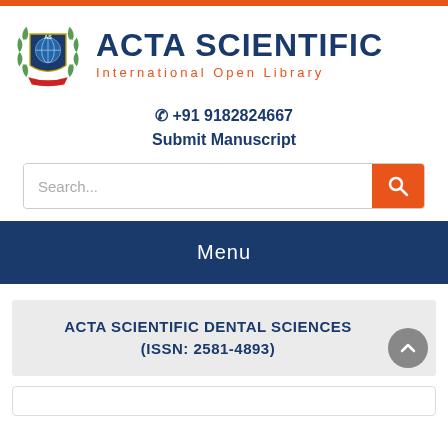[Figure (logo): Acta Scientific International Open Library logo with shield emblem and laurel wreath]
ACTA SCIENTIFIC
International Open Library
☏ +91 9182824667
Submit Manuscript
[Figure (screenshot): Search bar with orange search button]
Menu
ACTA SCIENTIFIC DENTAL SCIENCES (ISSN: 2581-4893)